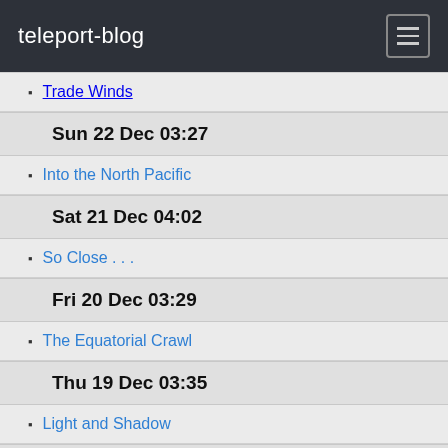teleport-blog
Trade Winds
Sun 22 Dec 03:27
Into the North Pacific
Sat 21 Dec 04:02
So Close . . .
Fri 20 Dec 03:29
The Equatorial Crawl
Thu 19 Dec 03:35
Light and Shadow
Wed 18 Dec 04:23
Sails, Batteries and Silicone Spray.
Tue 17 Dec 03:50
And Little Change.
Mon 16 Dec 04:02
Beyond the Solomon Sea.